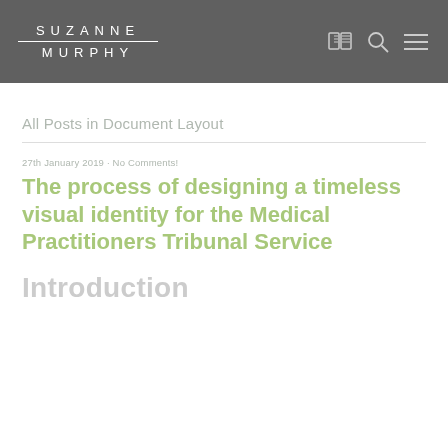SUZANNE MURPHY
All Posts in Document Layout
27th January 2019 · No Comments!
The process of designing a timeless visual identity for the Medical Practitioners Tribunal Service
Introduction